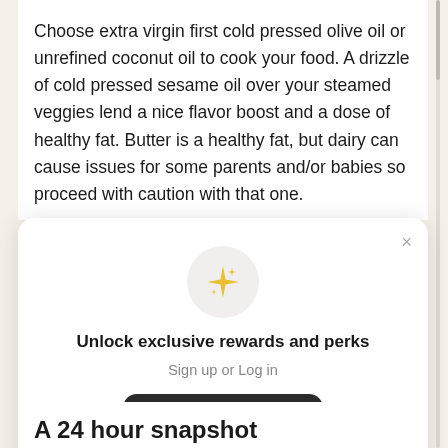Choose extra virgin first cold pressed olive oil or unrefined coconut oil to cook your food. A drizzle of cold pressed sesame oil over your steamed veggies lend a nice flavor boost and a dose of healthy fat. Butter is a healthy fat, but dairy can cause issues for some parents and/or babies so proceed with caution with that one.
[Figure (screenshot): A modal popup with a sparkle/star icon in a circular badge, heading 'Unlock exclusive rewards and perks', subtext 'Sign up or Log in', a dark rounded 'Sign up' button, and a link 'Already have an account? Sign in'. A close X button is in the top right.]
A 24 hour snapshot